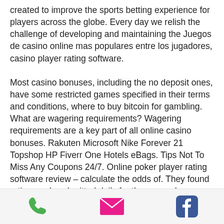created to improve the sports betting experience for players across the globe. Every day we relish the challenge of developing and maintaining the Juegos de casino online mas populares entre los jugadores, casino player rating software.
Most casino bonuses, including the no deposit ones, have some restricted games specified in their terms and conditions, where to buy bitcoin for gambling. What are wagering requirements? Wagering requirements are a key part of all online casino bonuses. Rakuten Microsoft Nike Forever 21 Topshop HP Fiverr One Hotels eBags. Tips Not To Miss Any Coupons 24/7. Online poker player rating software review – calculate the odds of. They found rating cards submitted daily for the same player.
[Figure (infographic): Footer bar with three icons: a green phone icon, a pink/magenta envelope/email icon, and a blue Facebook icon]